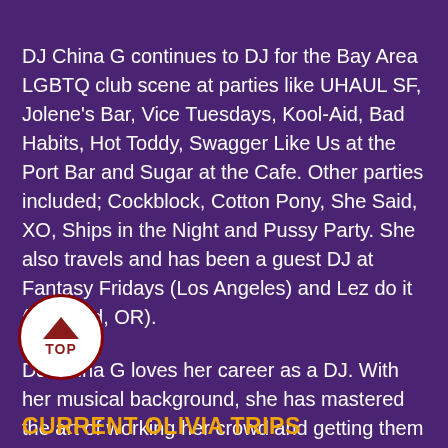DJ China G continues to DJ for the Bay Area LGBTQ club scene at parties like UHAUL SF, Jolene's Bar, Vice Tuesdays, Kool-Aid, Bad Habits, Hot Toddy, Swagger Like Us at the Port Bar and Sugar at the Cafe. Other parties included; Cockblock, Cotton Pony, She Said, XO, Ships in the Night and Pussy Party. She also travels and has been a guest DJ at Fantasy Fridays (Los Angeles) and Lez do it (Portland, OR).
DJ China G loves her career as a DJ. With her musical background, she has mastered the art of working her crowd and getting them to dance. She likes to challenge herself and the crowd by creating unconventional mixes with a large variety of musical genres. She continues to live her dream by playing music and being surrounded by talented artists that share her dream.
[Figure (other): A circular back-to-top button with a white background, dark red border, upward-pointing triangle arrow, and the text TOP]
CURRENT OLIVIA TRIPS